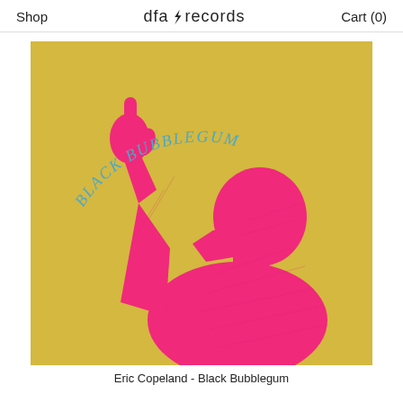Shop   dfa records   Cart (0)
[Figure (illustration): Album cover art for 'Black Bubblegum' by Eric Copeland on DFA Records. Yellow/golden background with a pink silhouette of a figure pointing upward with one finger. The text 'BLACK BUBBLEGUM' is arched in blue letters at the top of the cover.]
Eric Copeland - Black Bubblegum